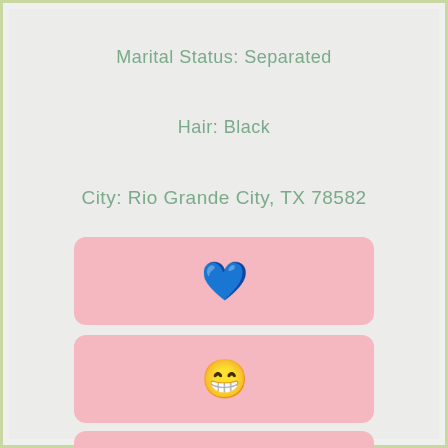Marital Status: Separated
Hair: Black
City: Rio Grande City, TX 78582
[Figure (other): Pink rounded card with a blue heart emoji]
[Figure (other): Pink rounded card with a grinning face emoji]
[Figure (other): Pink rounded card with a small photo thumbnail]